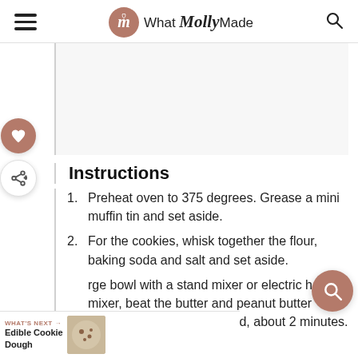What Molly Made
Instructions
Preheat oven to 375 degrees. Grease a mini muffin tin and set aside.
For the cookies, whisk together the flour, baking soda and salt and set aside.
In a large bowl with a stand mixer or electric hand mixer, beat the butter and peanut butter together until well combined, about 2 minutes.
WHAT'S NEXT → Edible Cookie Dough